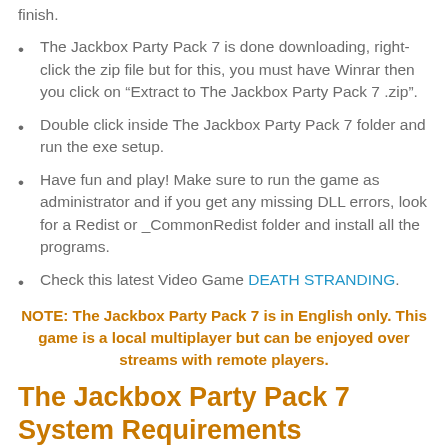finish.
The Jackbox Party Pack 7 is done downloading, right-click the zip file but for this, you must have Winrar then you click on “Extract to The Jackbox Party Pack 7 .zip”.
Double click inside The Jackbox Party Pack 7 folder and run the exe setup.
Have fun and play! Make sure to run the game as administrator and if you get any missing DLL errors, look for a Redist or _CommonRedist folder and install all the programs.
Check this latest Video Game DEATH STRANDING.
NOTE: The Jackbox Party Pack 7 is in English only. This game is a local multiplayer but can be enjoyed over streams with remote players.
The Jackbox Party Pack 7 System Requirements
Requires a 64-bit processor and operating...